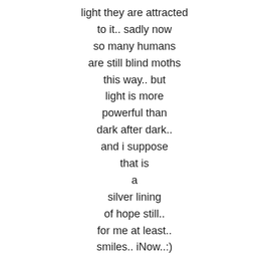light they are attracted
to it.. sadly now
so many humans
are still blind moths
this way.. but
light is more
powerful than
dark after dark..
and i suppose
that is
a
silver lining
of hope still..
for me at least..
smiles.. iNow..:)